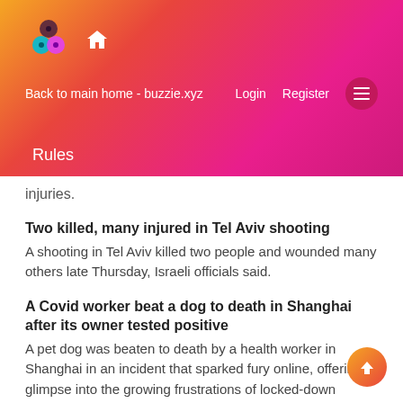Back to main home - buzzie.xyz | Login | Register | Rules
injuries.
Two killed, many injured in Tel Aviv shooting
A shooting in Tel Aviv killed two people and wounded many others late Thursday, Israeli officials said.
A Covid worker beat a dog to death in Shanghai after its owner tested positive
A pet dog was beaten to death by a health worker in Shanghai in an incident that sparked fury online, offering a glimpse into the growing frustrations of locked-down residents in China's Covid-19 hotspot.
'Bye bye': Model among Russian influencers destroying